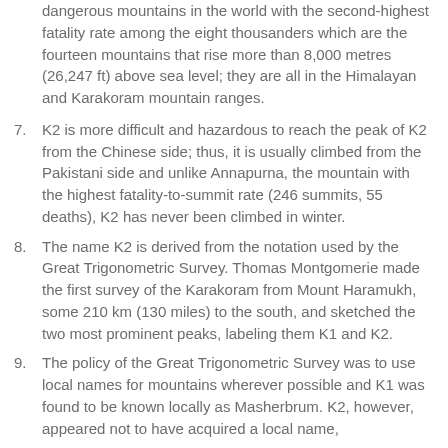dangerous mountains in the world with the second-highest fatality rate among the eight thousanders which are the fourteen mountains that rise more than 8,000 metres (26,247 ft) above sea level; they are all in the Himalayan and Karakoram mountain ranges.
7. K2 is more difficult and hazardous to reach the peak of K2 from the Chinese side; thus, it is usually climbed from the Pakistani side and unlike Annapurna, the mountain with the highest fatality-to-summit rate (246 summits, 55 deaths), K2 has never been climbed in winter.
8. The name K2 is derived from the notation used by the Great Trigonometric Survey. Thomas Montgomerie made the first survey of the Karakoram from Mount Haramukh, some 210 km (130 miles) to the south, and sketched the two most prominent peaks, labeling them K1 and K2.
9. The policy of the Great Trigonometric Survey was to use local names for mountains wherever possible and K1 was found to be known locally as Masherbrum. K2, however, appeared not to have acquired a local name,